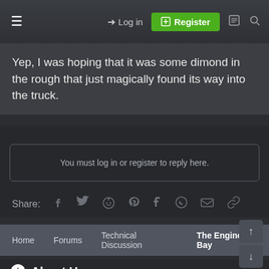Log in | Register
Yep, I was hoping that it was some dimond in the rough that just magically found its way into the truck.
You must log in or register to reply here.
Share:
Home › Forums › Technical Discussion › The Engine Bay
About Us
In May of 1999 CK5 started out as a tribute to America's favorite 4x4 utility truck. Since then it has grown to be a leader among full size Chevrolet K5 Blazer and GMC Jimmy web sites across the Internet. CK5 has since expanded to include the classic C/K series GM Truck